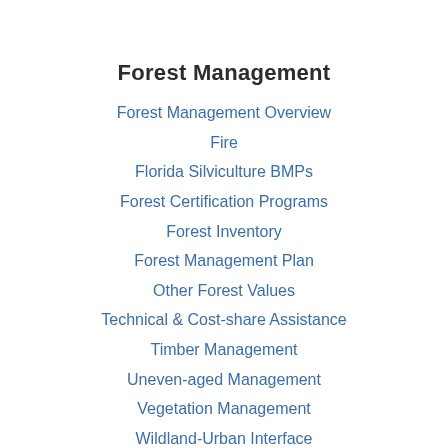Forest Management
Forest Management Overview
Fire
Florida Silviculture BMPs
Forest Certification Programs
Forest Inventory
Forest Management Plan
Other Forest Values
Technical & Cost-share Assistance
Timber Management
Uneven-aged Management
Vegetation Management
Wildland-Urban Interface